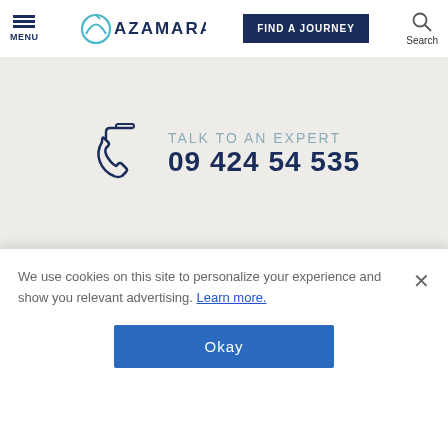MENU | AZAMARA | FIND A JOURNEY | Search
TALK TO AN EXPERT
09 424 54 535
BROCHURES
Start planning your Azamara experience today – our latest digital brochure for 2022-2023...
We use cookies on this site to personalize your experience and show you relevant advertising. Learn more.
Okay